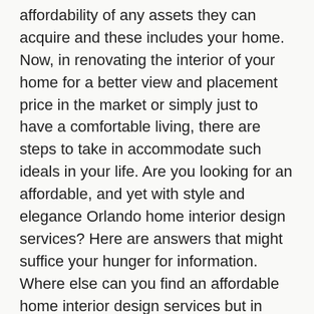affordability of any assets they can acquire and these includes your home. Now, in renovating the interior of your home for a better view and placement price in the market or simply just to have a comfortable living, there are steps to take in accommodate such ideals in your life. Are you looking for an affordable, and yet with style and elegance Orlando home interior design services? Here are answers that might suffice your hunger for information. Where else can you find an affordable home interior design services but in Orlando. With this information alone, you can narrow down your search and start collecting information about home interior design services locally. What are the ways to sustain an affordable home interior design services?